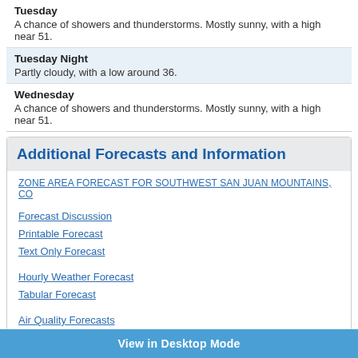Tuesday
A chance of showers and thunderstorms. Mostly sunny, with a high near 51.
Tuesday Night
Partly cloudy, with a low around 36.
Wednesday
A chance of showers and thunderstorms. Mostly sunny, with a high near 51.
Additional Forecasts and Information
ZONE AREA FORECAST FOR SOUTHWEST SAN JUAN MOUNTAINS, CO
Forecast Discussion
Printable Forecast
Text Only Forecast
Hourly Weather Forecast
Tabular Forecast
Air Quality Forecasts
International System of Units
Hazardous Weather
Area Forecast Discussion (if above link is not working)
Regional Weather Conditions
Local Storm Reports
View in Desktop Mode